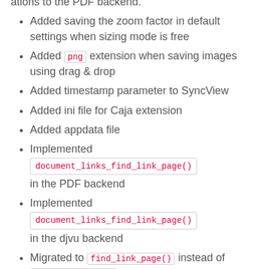Added saving the zoom factor in default settings when sizing mode is free
Added png extension when saving images using drag & drop
Added timestamp parameter to SyncView
Added ini file for Caja extension
Added appdata file
Implemented document_links_find_link_page() in the PDF backend
Implemented document_links_find_link_page() in the djvu backend
Migrated to find_link_page() instead of find_link_dest() in get_dest_page()
Fixed remembering the current page when document is reloaded in presentation mode